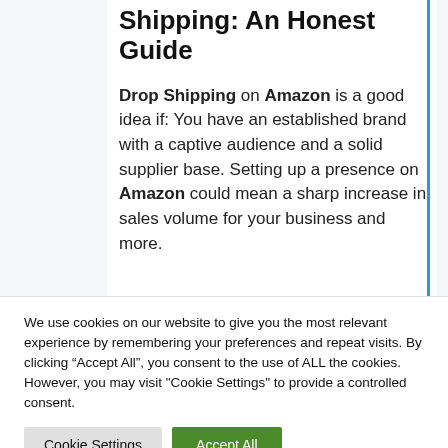Shipping: An Honest Guide
Drop Shipping on Amazon is a good idea if: You have an established brand with a captive audience and a solid supplier base. Setting up a presence on Amazon could mean a sharp increase in sales volume for your business.
We use cookies on our website to give you the most relevant experience by remembering your preferences and repeat visits. By clicking “Accept All”, you consent to the use of ALL the cookies. However, you may visit "Cookie Settings" to provide a controlled consent.